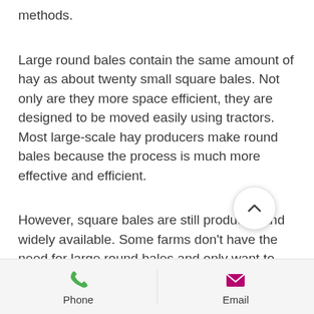methods.
Large round bales contain the same amount of hay as about twenty small square bales. Not only are they more space efficient, they are designed to be moved easily using tractors. Most large-scale hay producers make round bales because the process is much more effective and efficient.
However, square bales are still produced and widely available. Some farms don't have the need for large round bales and only want to use smaller amounts of hay at a time. For more on the differences
Phone   Email